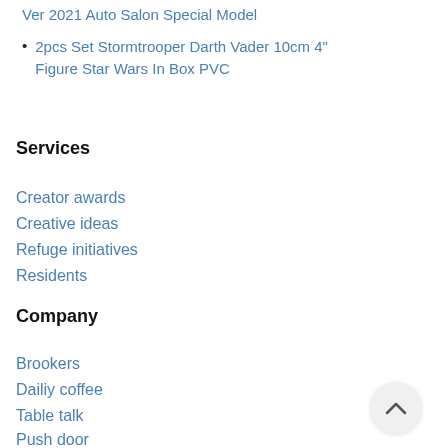Ver 2021 Auto Salon Special Model
2pcs Set Stormtrooper Darth Vader 10cm 4" Figure Star Wars In Box PVC
Services
Creator awards
Creative ideas
Refuge initiatives
Residents
Company
Brookers
Dailiy coffee
Table talk
Push door